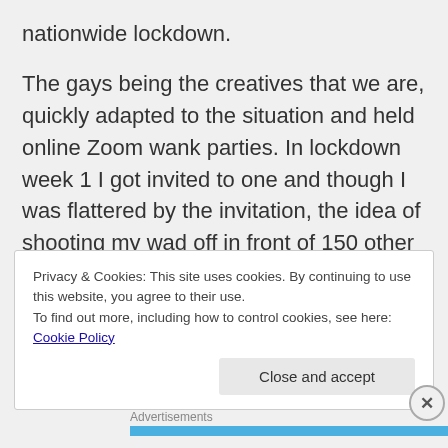nationwide lockdown.
The gays being the creatives that we are, quickly adapted to the situation and held online Zoom wank parties. In lockdown week 1 I got invited to one and though I was flattered by the invitation, the idea of shooting my wad off in front of 150 other strangers without getting paid, didn't quite appeal to me. So, I politely declined with a link to my onlyfans page. 😇
Privacy & Cookies: This site uses cookies. By continuing to use this website, you agree to their use.
To find out more, including how to control cookies, see here: Cookie Policy
Close and accept
Advertisements